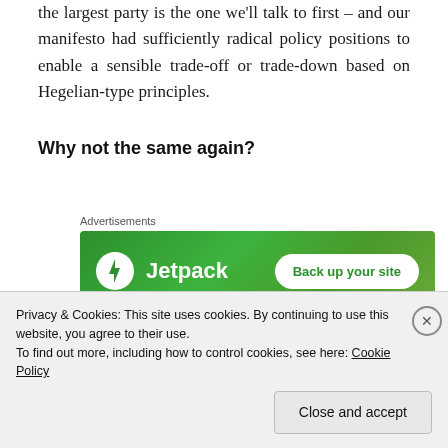the largest party is the one we'll talk to first – and our manifesto had sufficiently radical policy positions to enable a sensible trade-off or trade-down based on Hegelian-type principles.
Why not the same again?
[Figure (other): Jetpack advertisement banner with green background showing Jetpack logo and 'Back up your site' button]
I can only assume, though, that senior Lib Dems this time around think we got a bad deal in 2010, as the
Privacy & Cookies: This site uses cookies. By continuing to use this website, you agree to their use.
To find out more, including how to control cookies, see here: Cookie Policy
Close and accept